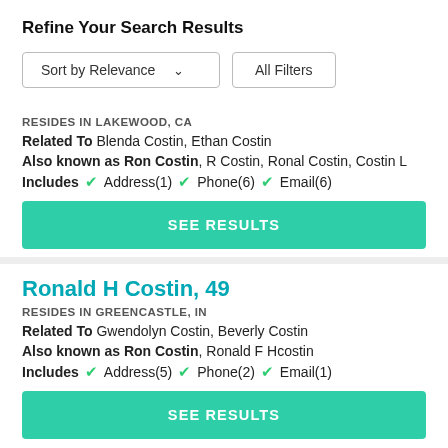Refine Your Search Results
[Figure (screenshot): Sort by Relevance dropdown and All Filters button]
RESIDES IN LAKEWOOD, CA
Related To Blenda Costin, Ethan Costin
Also known as Ron Costin, R Costin, Ronal Costin, Costin L
Includes ✓ Address(1) ✓ Phone(6) ✓ Email(6)
SEE RESULTS
Ronald H Costin, 49
RESIDES IN GREENCASTLE, IN
Related To Gwendolyn Costin, Beverly Costin
Also known as Ron Costin, Ronald F Hcostin
Includes ✓ Address(5) ✓ Phone(2) ✓ Email(1)
SEE RESULTS